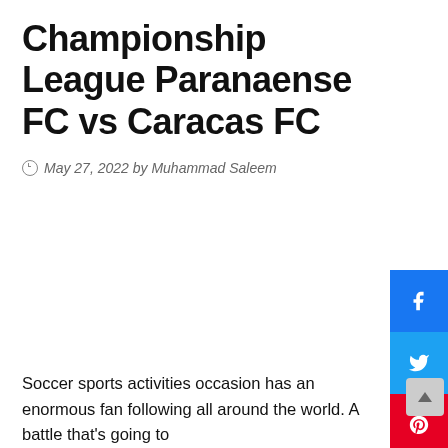Championship League Paranaense FC vs Caracas FC
May 27, 2022 by Muhammad Saleem
Soccer sports activities occasion has an enormous fan following all around the world. A battle that's going to